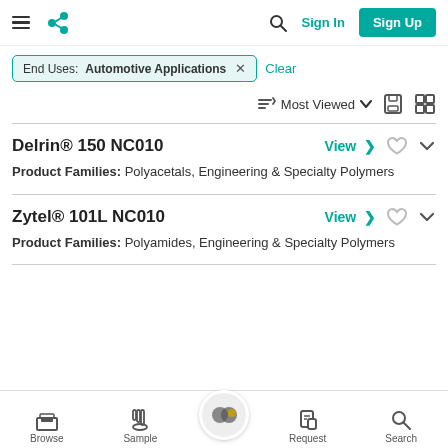Sign In  Sign Up
End Uses: Automotive Applications  ×  Clear
Most Viewed
Delrin® 150 NC010
Product Families: Polyacetals, Engineering & Specialty Polymers
Zytel® 101L NC010
Product Families: Polyamides, Engineering & Specialty Polymers
Browse  Sample  Request  Search